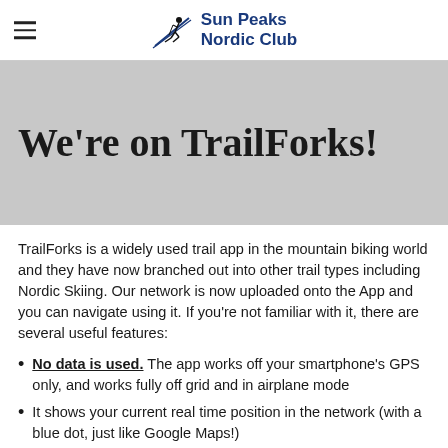Sun Peaks Nordic Club
We're on TrailForks!
TrailForks is a widely used trail app in the mountain biking world and they have now branched out into other trail types including Nordic Skiing. Our network is now uploaded onto the App and you can navigate using it. If you're not familiar with it, there are several useful features:
No data is used. The app works off your smartphone's GPS only, and works fully off grid and in airplane mode
It shows your current real time position in the network (with a blue dot, just like Google Maps!)